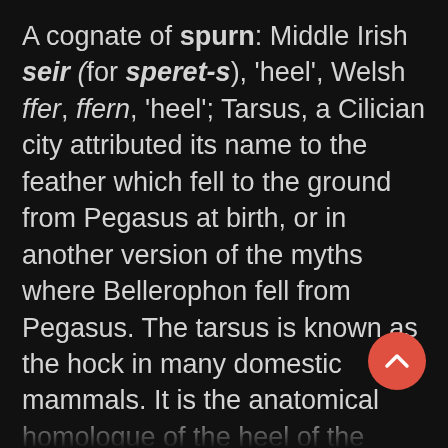A cognate of spurn: Middle Irish seir (for speret-s), 'heel', Welsh ffer, ffern, 'heel'; Tarsus, a Cilician city attributed its name to the feather which fell to the ground from Pegasus at birth, or in another version of the myths where Bellerophon fell from Pegasus. The tarsus is known as the hock in many domestic mammals. It is the anatomical homologue of the heel of the human foot [].
The Paganalia was the festival of sowing seeds, or propagating seed. The word sperm which Klein suggests is cognate with spring and spurn, is from Greek sperma…